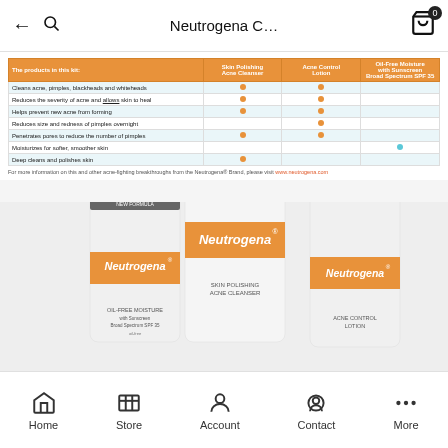Neutrogena C...
| The products in this kit: | Skin Polishing Acne Cleanser | Acne Control Lotion | Oil-Free Moisture with Sunscreen Broad Spectrum SPF 35 |
| --- | --- | --- | --- |
| Cleans acne, pimples, blackheads and whiteheads | ● | ● |  |
| Reduces the severity of acne and allows skin to heal | ● | ● |  |
| Helps prevent new acne from forming | ● | ● |  |
| Reduces size and redness of pimples overnight |  | ● |  |
| Penetrates pores to reduce the number of pimples | ● | ● |  |
| Moisturizes for softer, smoother skin |  |  | ● |
| Deep cleans and polishes skin | ● |  |  |
For more information on this and other acne-fighting breakthroughs from the Neutrogena® Brand, please visit www.neutrogena.com
[Figure (photo): Three Neutrogena product bottles: Oil-Free Moisturizer with Sunscreen Broad Spectrum SPF (left), Skin Polishing Acne Cleanser (center, tallest), and Acne Control Lotion (right)]
Home  Store  Account  Contact  More